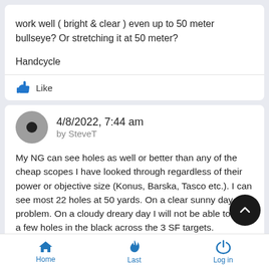work well ( bright & clear ) even up to 50 meter bullseye? Or stretching it at 50 meter?
Handcycle
Like
4/8/2022, 7:44 am by SteveT
My NG can see holes as well or better than any of the cheap scopes I have looked through regardless of their power or objective size (Konus, Barska, Tasco etc.). I can see most 22 holes at 50 yards. On a clear sunny day, no problem. On a cloudy dreary day I will not be able to see a few holes in the black across the 3 SF targets.
In my opinion (and in my eyes) quality glass is more important to
Home   Last   Log in